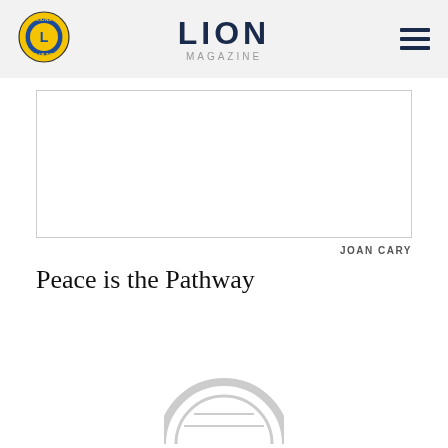LION MAGAZINE
[Figure (photo): White rectangular image placeholder area]
JOAN CARY
Peace is the Pathway
[Figure (logo): Partial circular logo/emblem visible at bottom center of page]